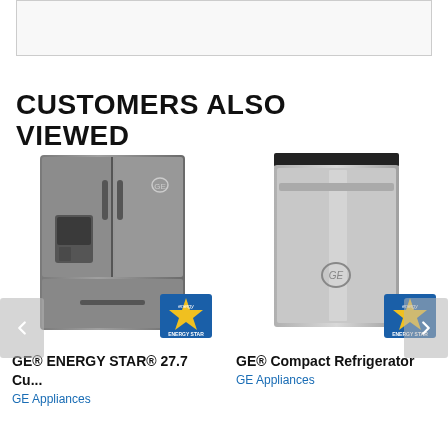[Figure (screenshot): Top partial box/image area (cut off at top of page)]
CUSTOMERS ALSO VIEWED
[Figure (photo): GE french door refrigerator in slate/dark stainless with water dispenser and Energy Star badge]
[Figure (photo): GE compact refrigerator in stainless with Energy Star badge]
GE® ENERGY STAR® 27.7 Cu...
GE® Compact Refrigerator
GE Appliances
GE Appliances